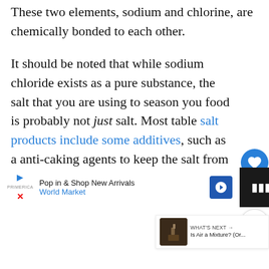These two elements, sodium and chlorine, are chemically bonded to each other.
It should be noted that while sodium chloride exists as a pure substance, the salt that you are using to season you food is probably not just salt. Most table salt products include some additives, such as a anti-caking agents to keep the salt from clumping up and a supr… to combat iodine deficiency.
[Figure (screenshot): Website UI overlay with heart/like button (blue circle with heart icon), count bubble showing '1', share button, 'What's Next' panel with thumbnail and title 'Is Air a Mixture? (Or...']
[Figure (screenshot): Advertisement banner: 'Pop in & Shop New Arrivals World Market' with play button, close button, blue navigation icon, and dark right panel with TV network logo]